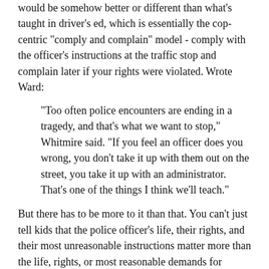would be somehow better or different than what's taught in driver's ed, which is essentially the cop-centric "comply and complain" model - comply with the officer's instructions at the traffic stop and complain later if your rights were violated. Wrote Ward:
"Too often police encounters are ending in a tragedy, and that's what we want to stop," Whitmire said. "If you feel an officer does you wrong, you don't take it up with them out on the street, you take it up with an administrator. That's one of the things I think we'll teach."
But there has to be more to it than that. You can't just tell kids that the police officer's life, their rights, and their most unreasonable instructions matter more than the life, rights, or most reasonable demands for respectful treatment of a detained driver, and if you don't like it, shut up and complain later. Sure, you can tell people their rights and even their lives don't matter as much as